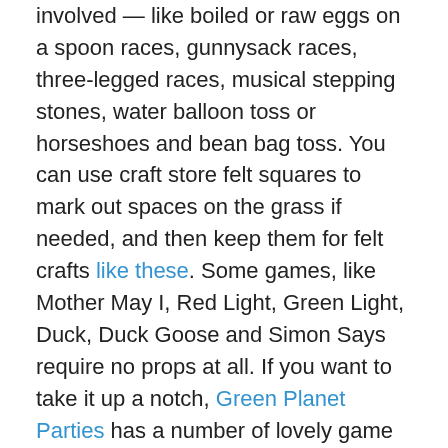involved — like boiled or raw eggs on a spoon races, gunnysack races, three-legged races, musical stepping stones, water balloon toss or horseshoes and bean bag toss. You can use craft store felt squares to mark out spaces on the grass if needed, and then keep them for felt crafts like these. Some games, like Mother May I, Red Light, Green Light, Duck, Duck Goose and Simon Says require no props at all. If you want to take it up a notch, Green Planet Parties has a number of lovely game options and birthday favors that can work well, especially for smaller parties. (Just allow plenty of time for it clear customs if in the U.S., as the mostly handmade goodies ship from Canada.)
8) Having a "no gifts" rule is a nice touch, if your kid can cope. It's kinder to other parents and also ensures you won't be dealing with unwanted items that aren't as